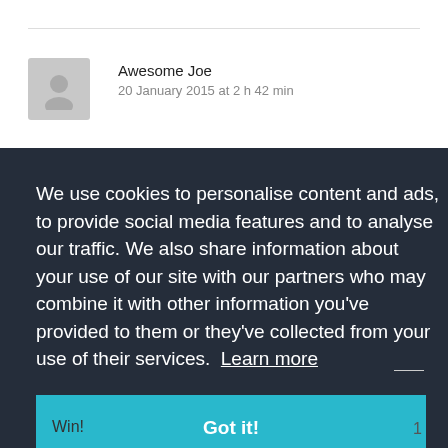Awesome Joe
20 January 2015 at 2 h 42 min
We use cookies to personalise content and ads, to provide social media features and to analyse our traffic. We also share information about your use of our site with our partners who may combine it with other information you've provided to them or they've collected from your use of their services. Learn more
Got it!
Win!